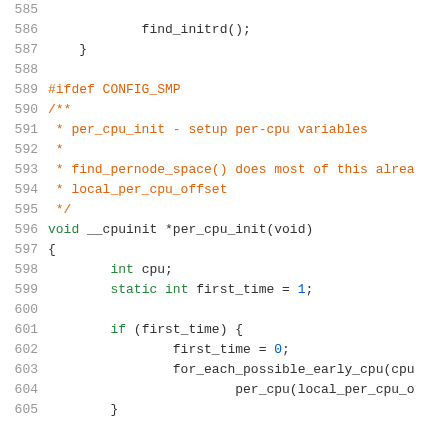Source code listing, lines 585-605, C kernel code snippet